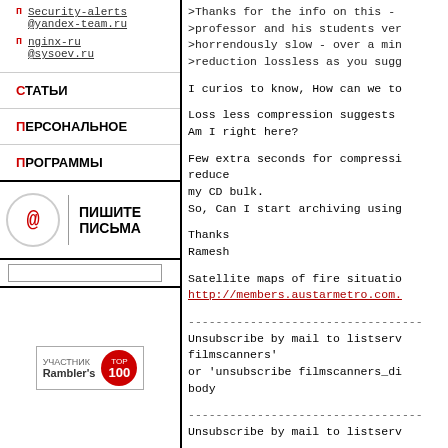Security-alerts @yandex-team.ru
nginx-ru @sysoev.ru
СТАТЬИ
ПЕРСОНАЛЬНОЕ
ПРОГРАММЫ
ПИШИТЕ ПИСЬМА
[Figure (logo): Rambler TOP 100 badge]
>Thanks for the info on this -
>professor and his students ver
>horrendously slow - over a min
>reduction lossless as you sugg

I curios to know, How can we to

Loss less compression suggests
Am I right here?

Few extra seconds for compressi
reduce
my CD bulk.
So, Can I start archiving using

Thanks
Ramesh

Satellite maps of fire situatio
http://members.austarmetro.com.

----------------------------------
Unsubscribe by mail to listserv
filmscanners'
or 'unsubscribe filmscanners_di
body

----------------------------------
Unsubscribe by mail to listserv